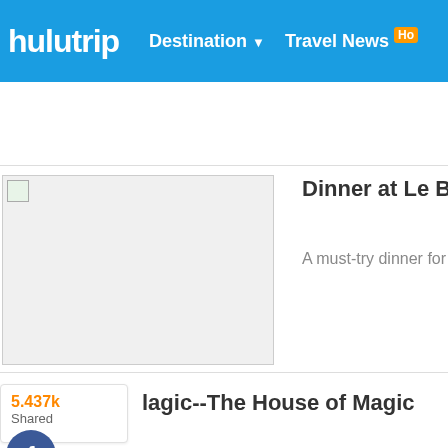hulutrip — Destination ▼ — Travel News Ho
[Figure (screenshot): Placeholder image thumbnail for article]
Dinner at Le Buffet Parisian Macau
A must-try dinner for every meal of the day. You...
lagic--The House of Magic
5.437k Shared
[Figure (infographic): Social share buttons: Facebook, Twitter, Pinterest, Google+]
[Figure (photo): Sidebar placeholder image]
Buffet B
[Figure (photo): Sidebar placeholder image second]